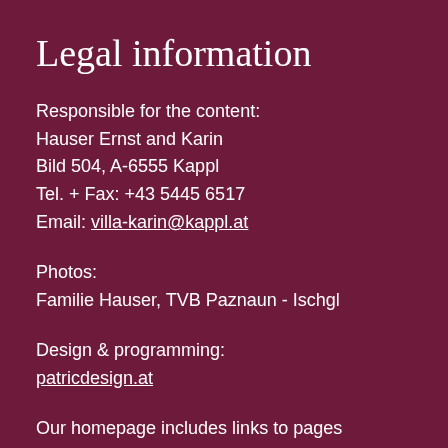Legal information
Responsible for the content:
Hauser Ernst and Karin
Bild 504, A-6555 Kappl
Tel. + Fax: +43 5445 6517
Email: villa-karin@kappl.at
Photos:
Familie Hauser, TVB Paznaun - Ischgl
Design & programming:
patricdesign.at
Our homepage includes links to pages belonging to other providers. You follow these links at your own risk. We accept no liability for content on the linked pages!